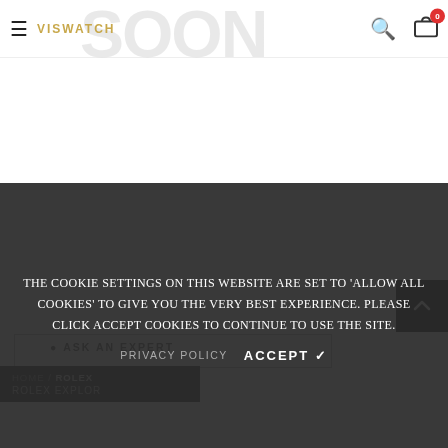VISwatch — SOON (header navigation)
[Figure (screenshot): Website screenshot showing VISwatch logo, hamburger menu, search icon, cart icon with badge '0', and large 'SOON' watermark text in background]
[Figure (other): Back to top button — black square with upward chevron arrow]
Ask An Expert
The cookie settings on this website are set to 'allow all cookies' to give you the very best experience. Please click Accept Cookies to continue to use the site.
PRIVACY POLICY
ACCEPT ✔
HOME / ROLEX — Rolex Explorer
HOME / ROLEX — Rolex Explorer